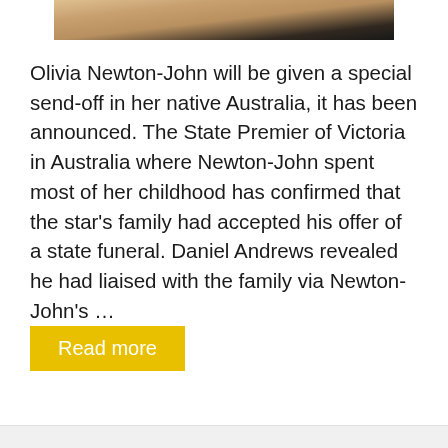[Figure (photo): Partial cropped photo of a blonde woman (Olivia Newton-John) holding a pink microphone, wearing a dark jacket, shown from approximately chest up, cropped at top of frame.]
Olivia Newton-John will be given a special send-off in her native Australia, it has been announced. The State Premier of Victoria in Australia where Newton-John spent most of her childhood has confirmed that the star's family had accepted his offer of a state funeral. Daniel Andrews revealed he had liaised with the family via Newton-John's …
Read more